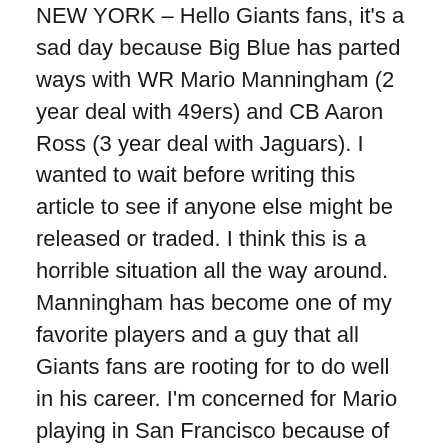NEW YORK – Hello Giants fans, it's a sad day because Big Blue has parted ways with WR Mario Manningham (2 year deal with 49ers) and CB Aaron Ross (3 year deal with Jaguars). I wanted to wait before writing this article to see if anyone else might be released or traded. I think this is a horrible situation all the way around. Manningham has become one of my favorite players and a guy that all Giants fans are rooting for to do well in his career. I'm concerned for Mario playing in San Francisco because of the system and fan base there. Once a Giant, always a Giant, just like I told him on twitter. I know Mario would have preferred to stay in New York and the fans love him for that even more. Mario was drafted by the Giants in 2008.
This feels exactly like it did last year, when the team lost a bunch of guys and some really big names (Smith, Boss,